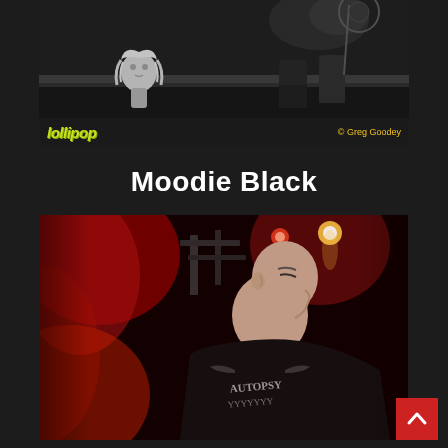[Figure (photo): Black and white concert photo showing a doll with blonde hair on a surface and a performer partially visible above with a microphone stand against dark background]
lollipop   © Greg Goodey
Moodie Black
[Figure (photo): Color concert photo of a shaved-head performer on stage wearing a black metal band t-shirt, lit dramatically with red stage lighting from behind]